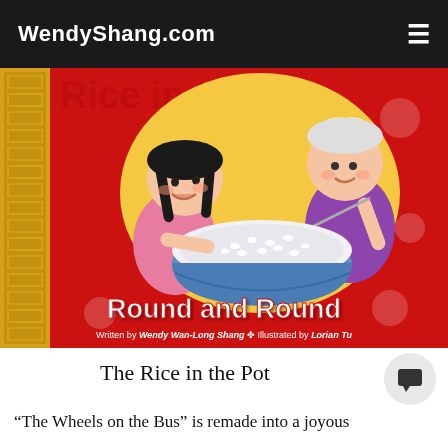WendyShang.com
[Figure (illustration): Book cover of 'Rice in the Pot Goes Round and Round' by Wendy Wan-Long Shang, illustrated by Lorian Tu. Red background with two cartoon children — a girl with braids and a woman with white hair — sharing a large blue-and-white bowl of rice. Yellow Greek-key border on left. Title text 'Round and Round' in white at bottom. Author and illustrator credits at the bottom.]
The Rice in the Pot
"The Wheels on the Bus" is remade into a joyous